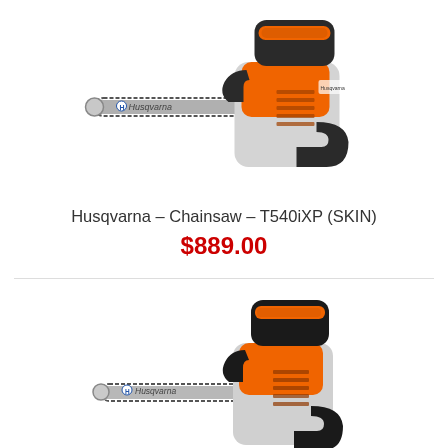[Figure (photo): Husqvarna T540iXP chainsaw product photo, orange and grey battery-powered top-handle chainsaw facing left with guide bar extended]
Husqvarna - Chainsaw - T540iXP (SKIN)
$889.00
[Figure (photo): Second Husqvarna chainsaw product photo, orange and dark grey top-handle chainsaw partially visible at bottom of page]